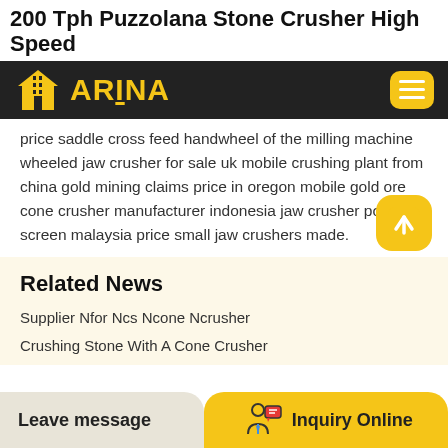200 Tph Puzzolana Stone Crusher High Speed
[Figure (logo): ARINA company logo with building icon on dark background, with hamburger menu button]
price saddle cross feed handwheel of the milling machine wheeled jaw crusher for sale uk mobile crushing plant from china gold mining claims price in oregon mobile gold ore cone crusher manufacturer indonesia jaw crusher power screen malaysia price small jaw crushers made.
Related News
Supplier Nfor Ncs Ncone Ncrusher
Crushing Stone With A Cone Crusher
Leave message
Inquiry Online